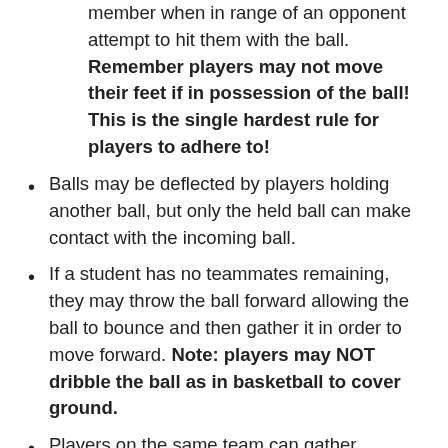member when in range of an opponent attempt to hit them with the ball. Remember players may not move their feet if in possession of the ball! This is the single hardest rule for players to adhere to!
Balls may be deflected by players holding another ball, but only the held ball can make contact with the incoming ball.
If a student has no teammates remaining, they may throw the ball forward allowing the ball to bounce and then gather it in order to move forward. Note: players may NOT dribble the ball as in basketball to cover ground.
Players on the same team can gather